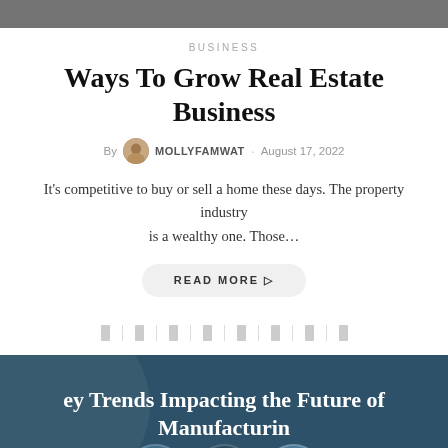[Figure (photo): Partial top photo strip — people/portrait image, cropped at top]
BUSINESS
Ways To Grow Real Estate Business
By MOLLYFAMWAT · August 17, 2022
It's competitive to buy or sell a home these days. The property industry is a wealthy one. Those…
READ MORE ▷
Pagination icons row
[Figure (photo): Dark teal banner with text: 'ey Trends Impacting the Future of Manufacturing in the US' and circular avatar icons at bottom]